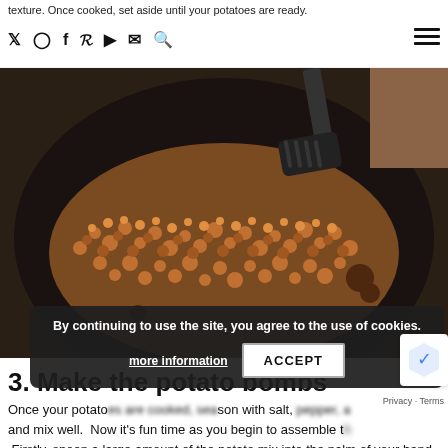texture. Once cooked, set aside until your potatoes are ready.
[Figure (photo): Crispy browned ground meat or similar crumbled food cooking in a dark skillet, with a black spatula visible at the top. The food has a golden-brown, crispy texture.]
3. Make the potato bombs
Once your potatoes are cooked, season with salt, pepper, and mix well. Now it's fun time as you begin to assemble the. Firstly, spoon a large amount of the potato mix into the palm of your hand
By continuing to use the site, you agree to the use of cookies.
more information
ACCEPT